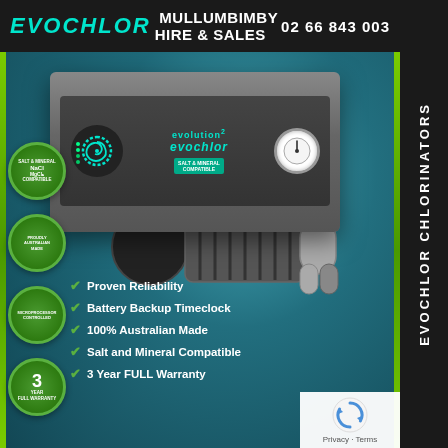evochlor MULLUMBIMBY HIRE & SALES CHLORINATORS 02 66 843 003
[Figure (photo): Evochlor salt and mineral compatible chlorinator unit with control box and cell. Features spiral/logo display, evolution2 branding, analog timer gauge, and separate cell/electrode unit. Multiple green circular badges: Salt & Mineral Compatible (NaCl/MgCl2), Proudly Australian Made, Microprocessor Controlled, 3 Year Full Warranty.]
Proven Reliability
Battery Backup Timeclock
100% Australian Made
Salt and Mineral Compatible
3 Year FULL Warranty
Privacy · Terms